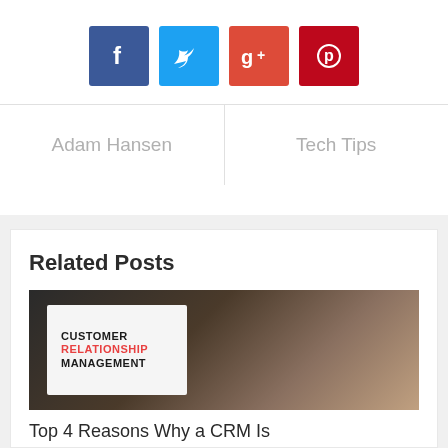[Figure (infographic): Four social media share buttons: Facebook (blue), Twitter (light blue), Google+ (red-orange), Pinterest (dark red)]
Adam Hansen
Tech Tips
Related Posts
[Figure (photo): Person typing on a laptop with a screen showing 'CUSTOMER RELATIONSHIP MANAGEMENT' text, with a plant and phone in the background]
Top 4 Reasons Why a CRM Is